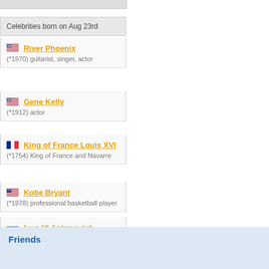Celebrities born on Aug 23rd
River Phoenix (*1970) guitarist, singer, actor
Gene Kelly (*1912) actor
King of France Louis XVI (*1754) King of France and Navarre
Kobe Bryant (*1978) professional basketball player
Ivan VI Antonovich (*1740) Emperor and Autocrat of All the Russias
other celebrities »
Friends